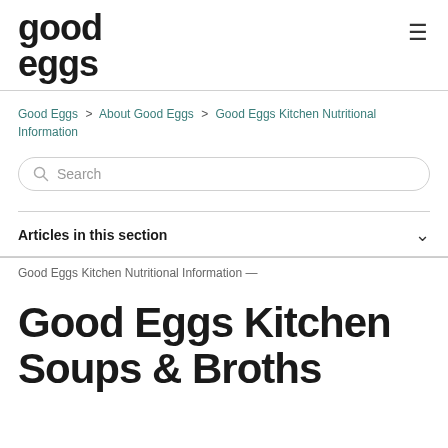good eggs
Good Eggs > About Good Eggs > Good Eggs Kitchen Nutritional Information
[Figure (other): Search bar with search icon and placeholder text 'Search']
Articles in this section
Good Eggs Kitchen Soups & Broths